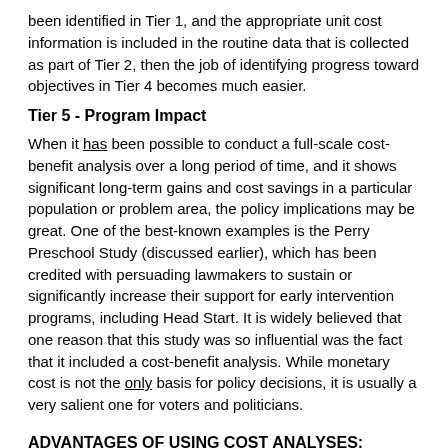been identified in Tier 1, and the appropriate unit cost information is included in the routine data that is collected as part of Tier 2, then the job of identifying progress toward objectives in Tier 4 becomes much easier.
Tier 5 - Program Impact
When it has been possible to conduct a full-scale cost-benefit analysis over a long period of time, and it shows significant long-term gains and cost savings in a particular population or problem area, the policy implications may be great. One of the best-known examples is the Perry Preschool Study (discussed earlier), which has been credited with persuading lawmakers to sustain or significantly increase their support for early intervention programs, including Head Start. It is widely believed that one reason that this study was so influential was the fact that it included a cost-benefit analysis. While monetary cost is not the only basis for policy decisions, it is usually a very salient one for voters and politicians.
ADVANTAGES OF USING COST ANALYSES:
Promotes fiscal accountability in programs. Too